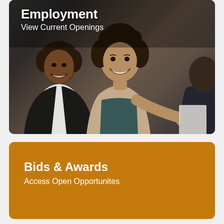[Figure (photo): Photo of two smiling women in professional attire, one shaking hands with a person partially visible on the right, in an office/meeting setting. Dark overlay card with text overlaid at top.]
Employment
View Current Openings
Bids & Awards
Access Open Opportunites